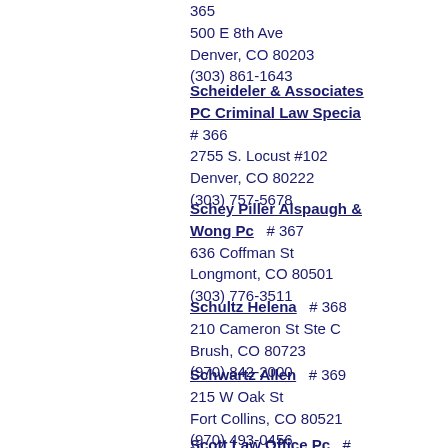365
500 E 8th Ave
Denver, CO 80203
(303) 861-1643
Scheideler & Associates PC Criminal Law Specia
# 366
2755 S. Locust #102
Denver, CO 80222
(303) 757-5678
Schey Piller Alspaugh & Wong Pc  # 367
636 Coffman St
Longmont, CO 80501
(303) 776-3511
Schultz Helena  # 368
210 Cameron St Ste C
Brush, CO 80723
(970) 842-2000
Schwartz Allen  # 369
215 W Oak St
Fort Collins, CO 80521
(970) 493-0456
Scott Law Office Pc  # 370